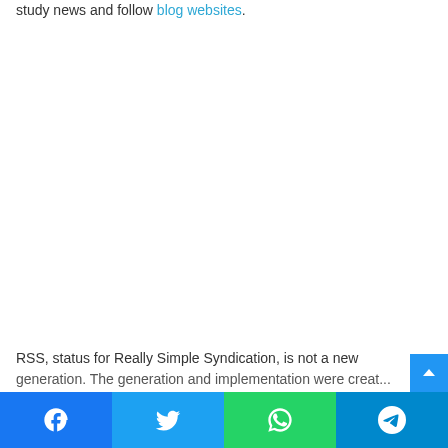study news and follow blog websites.
RSS, status for Really Simple Syndication, is not a new generation. The generation and implementation were creat...
[Figure (other): Social share bar with Facebook, Twitter, WhatsApp, and Telegram buttons at the bottom of the page]